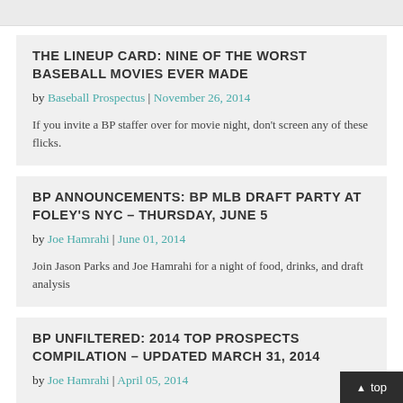THE LINEUP CARD: NINE OF THE WORST BASEBALL MOVIES EVER MADE
by Baseball Prospectus | November 26, 2014
If you invite a BP staffer over for movie night, don't screen any of these flicks.
BP ANNOUNCEMENTS: BP MLB DRAFT PARTY AT FOLEY'S NYC – THURSDAY, JUNE 5
by Joe Hamrahi | June 01, 2014
Join Jason Parks and Joe Hamrahi for a night of food, drinks, and draft analysis
BP UNFILTERED: 2014 TOP PROSPECTS COMPILATION – UPDATED MARCH 31, 2014
by Joe Hamrahi | April 05, 2014